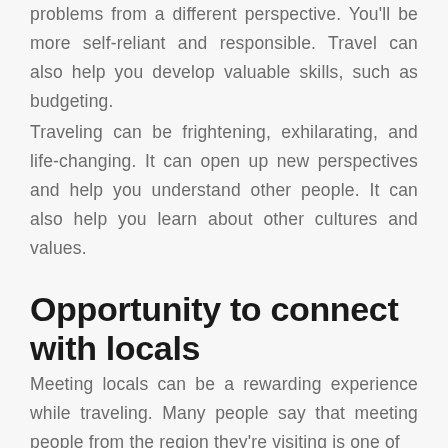problems from a different perspective. You'll be more self-reliant and responsible. Travel can also help you develop valuable skills, such as budgeting.
Traveling can be frightening, exhilarating, and life-changing. It can open up new perspectives and help you understand other people. It can also help you learn about other cultures and values.
Opportunity to connect with locals
Meeting locals can be a rewarding experience while traveling. Many people say that meeting people from the region they're visiting is one of the highlights of a trip. People who...